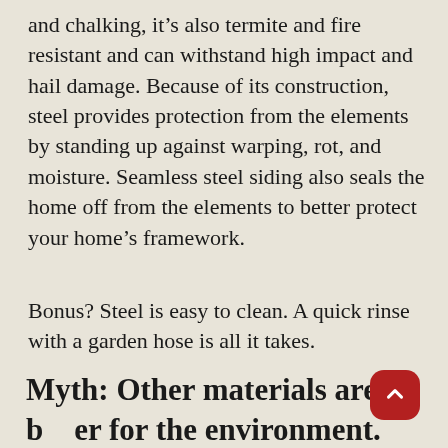and chalking, it's also termite and fire resistant and can withstand high impact and hail damage. Because of its construction, steel provides protection from the elements by standing up against warping, rot, and moisture. Seamless steel siding also seals the home off from the elements to better protect your home's framework.
Bonus? Steel is easy to clean. A quick rinse with a garden hose is all it takes.
Myth: Other materials are better for the environment.